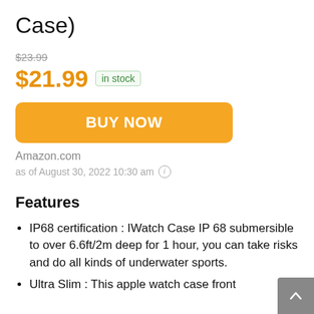Case)
$23.99
$21.99 in stock
BUY NOW
Amazon.com
as of August 30, 2022 10:30 am
Features
IP68 certification : IWatch Case IP 68 submersible to over 6.6ft/2m deep for 1 hour, you can take risks and do all kinds of underwater sports.
Ultra Slim : This apple watch case front